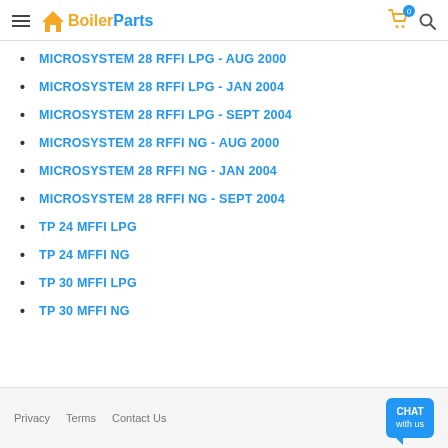BoilerParts
MICROSYSTEM 28 RFFI LPG - AUG 2000
MICROSYSTEM 28 RFFI LPG - JAN 2004
MICROSYSTEM 28 RFFI LPG - SEPT 2004
MICROSYSTEM 28 RFFI NG - AUG 2000
MICROSYSTEM 28 RFFI NG - JAN 2004
MICROSYSTEM 28 RFFI NG - SEPT 2004
TP 24 MFFI LPG
TP 24 MFFI NG
TP 30 MFFI LPG
TP 30 MFFI NG
Privacy   Terms   Contact Us